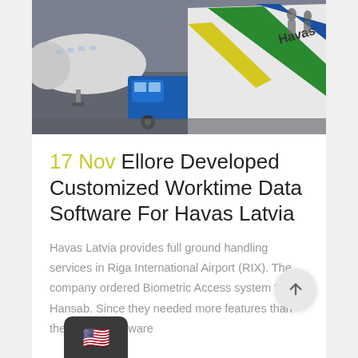[Figure (photo): Airport ground handling scene showing an airplane on the left, a blue vehicle/truck in the center, and a Havas-branded cargo loader with green, yellow, and white livery on the right. People visible in background.]
17 Nov Ellore Developed Customized Worktime Data Software For Havas Latvia
Havas Latvia provides full ground handling services in Riga International Airport (RIX). The company ordered Biometric Access system from Hansab. Since they needed more features than the original software